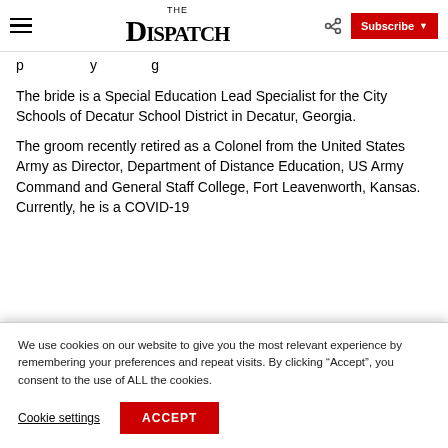The Dispatch — Subscribe
p... y... g...
The bride is a Special Education Lead Specialist for the City Schools of Decatur School District in Decatur, Georgia.
The groom recently retired as a Colonel from the United States Army as Director, Department of Distance Education, US Army Command and General Staff College, Fort Leavenworth, Kansas. Currently, he is a COVID-19
We use cookies on our website to give you the most relevant experience by remembering your preferences and repeat visits. By clicking “Accept”, you consent to the use of ALL the cookies.
Cookie settings  ACCEPT